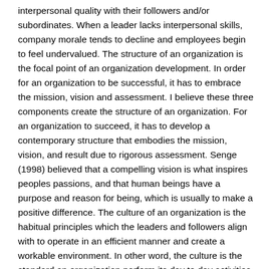interpersonal quality with their followers and/or subordinates. When a leader lacks interpersonal skills, company morale tends to decline and employees begin to feel undervalued. The structure of an organization is the focal point of an organization development. In order for an organization to be successful, it has to embrace the mission, vision and assessment. I believe these three components create the structure of an organization. For an organization to succeed, it has to develop a contemporary structure that embodies the mission, vision, and result due to rigorous assessment. Senge (1998) believed that a compelling vision is what inspires peoples passions, and that human beings have a purpose and reason for being, which is usually to make a positive difference. The culture of an organization is the habitual principles which the leaders and followers align with to operate in an efficient manner and create a workable environment. In other word, the culture is the standard an organization perform its day to day activities. The followers are disciplined to abide by the rules and headed by their leaders. For example, if a company or business enterprise stipulates that their employees has to report to duty at 07:30 a.m. on each working days, and all must take 1 hour break within their working hours, I believe it is a fair argument that this is their culture and they